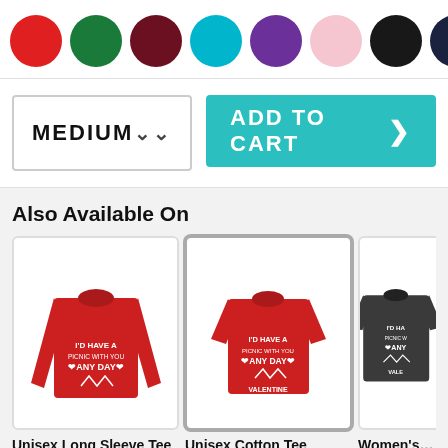[Figure (other): Row of color swatches as circles: red, green, dark red/maroon, teal/cyan, purple, light pink, black, navy, light gray/silver]
[Figure (other): Size selector dropdown showing MEDIUM with chevron arrow, and a teal ADD TO CART button with right arrow]
Also Available On
[Figure (other): Red long sleeve tee with text I'D HAVE A PICNIC WITH YOU ANY DAY VALENTINE]
Unisex Long Sleeve Tee
[Figure (other): Red unisex cotton short sleeve tee with text I'D HAVE A PICNIC WITH YOU ANY DAY VALENTINE (selected/highlighted)]
Unisex Cotton Tee
[Figure (other): Dark/charcoal women's cut short sleeve tee with partial text I'D HA... ANY... VALE... (partially cut off)]
Women's Co
View All Styles